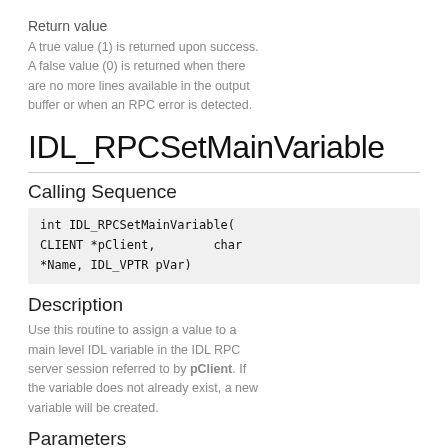Return value
A true value (1) is returned upon success. A false value (0) is returned when there are no more lines available in the output buffer or when an RPC error is detected.
IDL_RPCSetMainVariable
Calling Sequence
int IDL_RPCSetMainVariable(
CLIENT *pClient,        char
*Name, IDL_VPTR pVar)
Description
Use this routine to assign a value to a main level IDL variable in the IDL RPC server session referred to by pClient. If the variable does not already exist, a new variable will be created.
Parameters
pClient